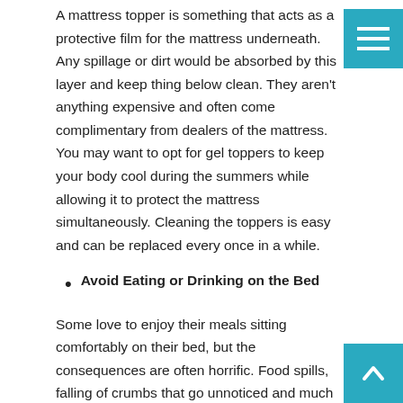A mattress topper is something that acts as a protective film for the mattress underneath. Any spillage or dirt would be absorbed by this layer and keep thing below clean. They aren't anything expensive and often come complimentary from dealers of the mattress. You may want to opt for gel toppers to keep your body cool during the summers while allowing it to protect the mattress simultaneously. Cleaning the toppers is easy and can be replaced every once in a while.
Avoid Eating or Drinking on the Bed
Some love to enjoy their meals sitting comfortably on their bed, but the consequences are often horrific. Food spills, falling of crumbs that go unnoticed and much more is absorbed by the mattress over time. Professionals dealing with mattress agree that improper dusting or brushing after a meal leads to accumulation of these particles underneath while giving birth to dust mites, mildew, and